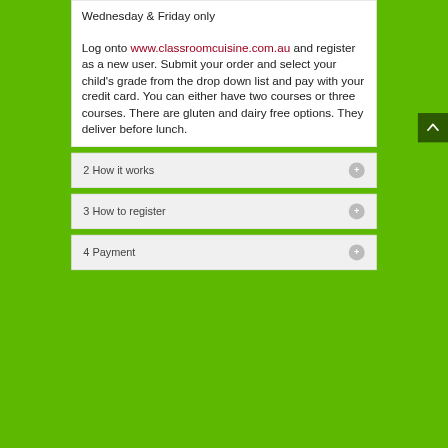Wednesday & Friday only

Log onto www.classroomcuisine.com.au and register as a new user. Submit your order and select your child's grade from the drop down list and pay with your credit card. You can either have two courses or three courses. There are gluten and dairy free options. They deliver before lunch.
2 How it works
3 How to register
4 Payment